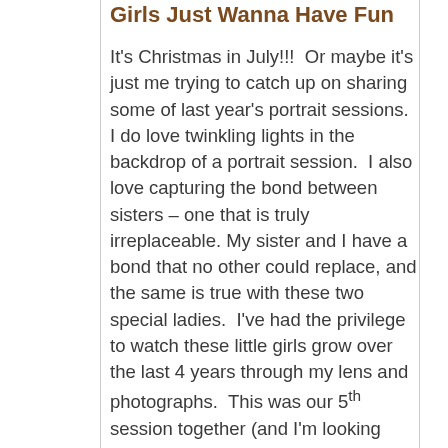Girls Just Wanna Have Fun
It's Christmas in July!!!  Or maybe it's just me trying to catch up on sharing some of last year's portrait sessions.  I do love twinkling lights in the backdrop of a portrait session.  I also love capturing the bond between sisters – one that is truly irreplaceable. My sister and I have a bond that no other could replace, and the same is true with these two special ladies.  I've had the privilege to watch these little girls grow over the last 4 years through my lens and photographs.  This was our 5th session together (and I'm looking forward to their sixth session already booked for this Fall!).  These girls come